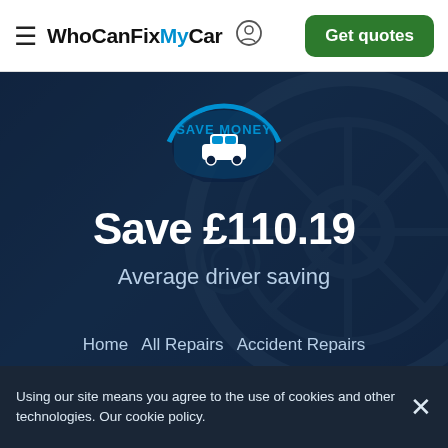WhoCanFixMyCar — Get quotes
[Figure (logo): WhoCanFixMyCar website header with hamburger menu, logo, user icon, and green Get quotes button]
[Figure (infographic): Save Money badge with car icon in blue circle on dark blue hero background with car wheel imagery]
Save £110.19
Average driver saving
Home  All Repairs  Accident Repairs  Accident Repairs Wallsend
Using our site means you agree to the use of cookies and other technologies. Our cookie policy.